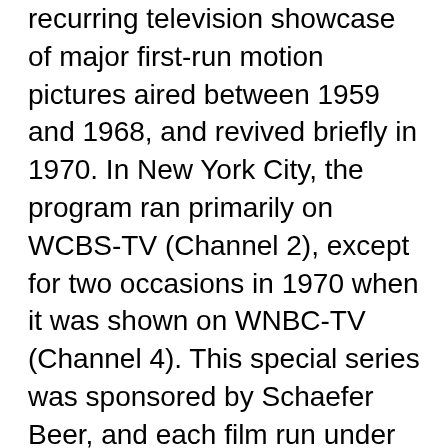recurring television showcase of major first-run motion pictures aired between 1959 and 1968, and revived briefly in 1970. In New York City, the program ran primarily on WCBS-TV (Channel 2), except for two occasions in 1970 when it was shown on WNBC-TV (Channel 4). This special series was sponsored by Schaefer Beer, and each film run under this banner was shown with only four commercial interruptions. On WCBS-TV, this show was aired in place of their usual late-night umbrella, The Late Show.
Schaefer Award Theatre was also shown in some other major cities in the United States.